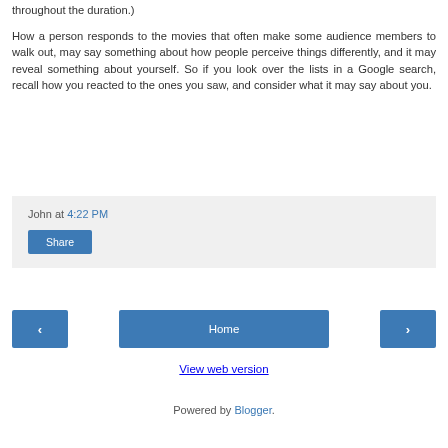throughout the duration.)
How a person responds to the movies that often make some audience members to walk out, may say something about how people perceive things differently, and it may reveal something about yourself. So if you look over the lists in a Google search, recall how you reacted to the ones you saw, and consider what it may say about you.
John at 4:22 PM
Share
‹
Home
›
View web version
Powered by Blogger.